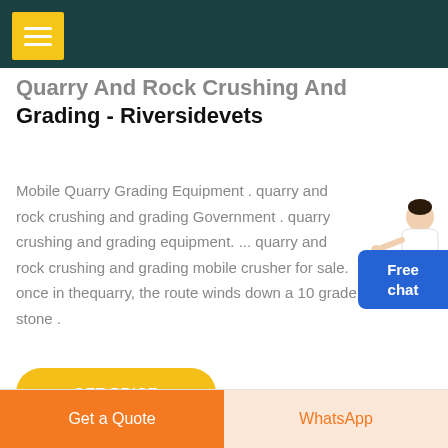Quarry And Rock Crushing And Grading - Riversidevets
Mobile Quarry Grading Equipment . quarry and rock crushing and grading Government . quarry crushing and grading equipment. ... quarry and rock crushing and grading mobile crusher for sale. once in thequarry, the route winds down a 10 grade stone .
[Figure (illustration): Free chat widget with a person illustration and blue button labeled 'Free chat']
GET PRICE
Get a Quote | WhatsApp